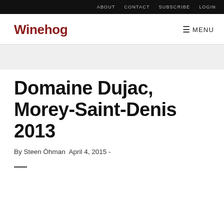ABOUT   CONTACT   SUBSCRIBE   LOGIN
Winehog
Domaine Dujac, Morey-Saint-Denis 2013
By Steen Öhman April 4, 2015 -